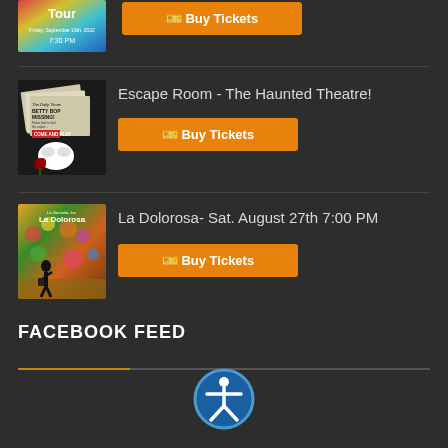[Figure (photo): Partial event thumbnail at top, colorful tour poster image, partially cropped]
Buy Tickets
[Figure (photo): Escape Room - The Haunted Theatre! event poster showing newspaper with BETTY BOP MISSING headline, phantom of the opera mask and rose]
Escape Room - The Haunted Theatre!
Buy Tickets
[Figure (photo): La Dolorosa event poster showing silhouette of woman against colorful floral background with La Zarzuela Inc. La Dolorosa text]
La Dolorosa- Sat. August 27th 7:00 PM
Buy Tickets
FACEBOOK FEED
[Figure (logo): Accessibility icon - white figure in circle with blue background]